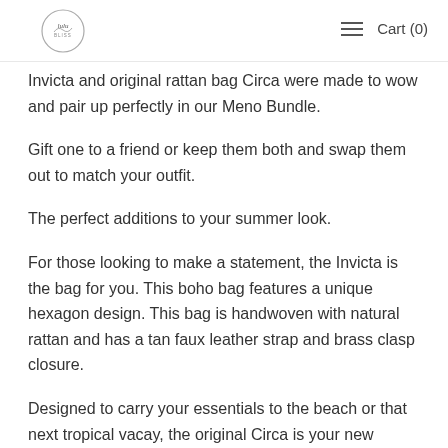Logo | Cart (0)
Invicta and original rattan bag Circa were made to wow and pair up perfectly in our Meno Bundle.
Gift one to a friend or keep them both and swap them out to match your outfit.
The perfect additions to your summer look.
For those looking to make a statement, the Invicta is the bag for you. This boho bag features a unique hexagon design. This bag is handwoven with natural rattan and has a tan faux leather strap and brass clasp closure.
Designed to carry your essentials to the beach or that next tropical vacay, the original Circa is your new everyday bag. This summer-ready bag is handwoven from natural rattan fabric into the